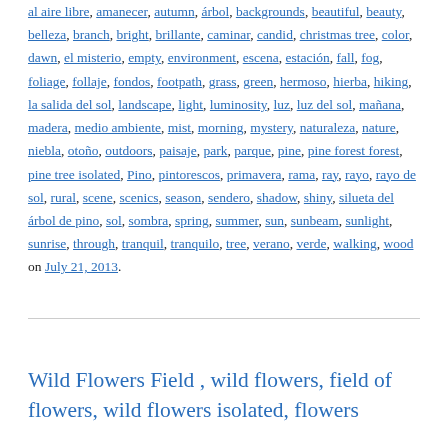al aire libre, amanecer, autumn, árbol, backgrounds, beautiful, beauty, belleza, branch, bright, brillante, caminar, candid, christmas tree, color, dawn, el misterio, empty, environment, escena, estación, fall, fog, foliage, follaje, fondos, footpath, grass, green, hermoso, hierba, hiking, la salida del sol, landscape, light, luminosity, luz, luz del sol, mañana, madera, medio ambiente, mist, morning, mystery, naturaleza, nature, niebla, otoño, outdoors, paisaje, park, parque, pine, pine forest forest, pine tree isolated, Pino, pintorescos, primavera, rama, ray, rayo, rayo de sol, rural, scene, scenics, season, sendero, shadow, shiny, silueta del árbol de pino, sol, sombra, spring, summer, sun, sunbeam, sunlight, sunrise, through, tranquil, tranquilo, tree, verano, verde, walking, wood on July 21, 2013.
Wild Flowers Field , wild flowers, field of flowers, wild flowers isolated, flowers